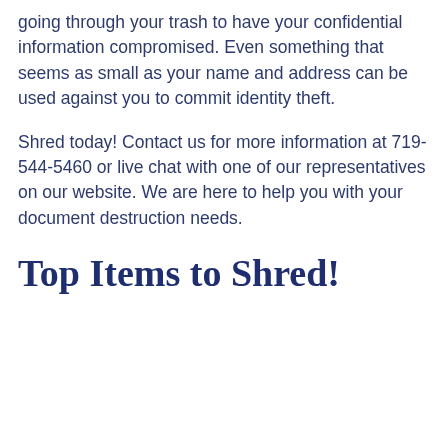going through your trash to have your confidential information compromised. Even something that seems as small as your name and address can be used against you to commit identity theft.
Shred today! Contact us for more information at 719-544-5460 or live chat with one of our representatives on our website. We are here to help you with your document destruction needs.
Top Items to Shred!